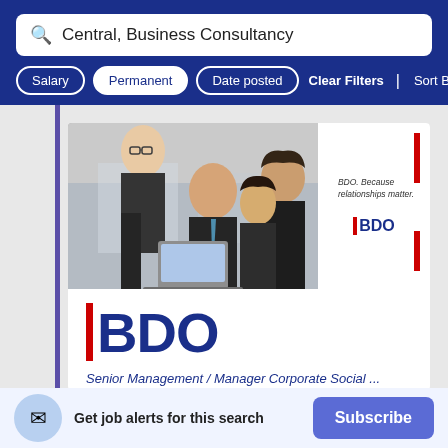Central, Business Consultancy
Salary | Permanent | Date posted | Clear Filters | Sort By Rel
[Figure (screenshot): BDO job listing card showing a photo of business professionals around a laptop, BDO logo with tagline 'BDO. Because relationships matter.' and large BDO logo below, with a partially visible job title in blue text.]
Get job alerts for this search
Subscribe